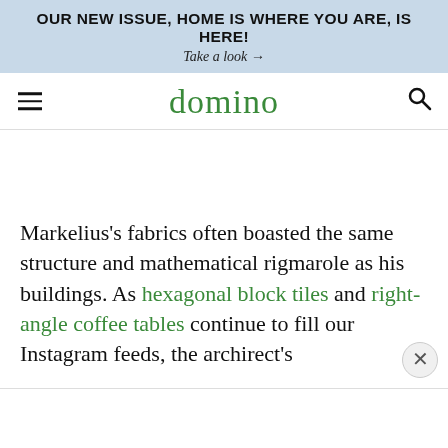OUR NEW ISSUE, HOME IS WHERE YOU ARE, IS HERE!
Take a look →
domino
Markelius's fabrics often boasted the same structure and mathematical rigmarole as his buildings. As hexagonal block tiles and right-angle coffee tables continue to fill our Instagram feeds, the archirect's